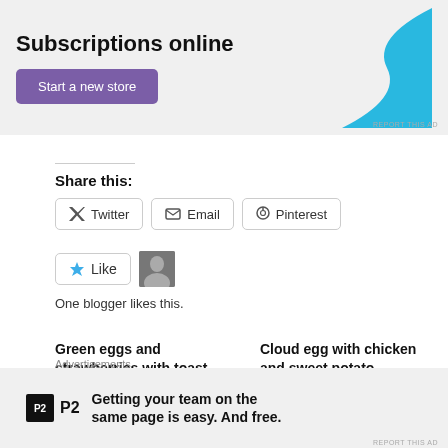[Figure (screenshot): Advertisement banner with 'Subscriptions online' heading, purple 'Start a new store' button, and cyan decorative shape]
REPORT THIS AD
Share this:
Twitter  Email  Pinterest
Like
One blogger likes this.
Green eggs and strawberries with toast
February 2, 2015
In "#helenscchinrecipes"
Cloud egg with chicken and sweet potato
August 7, 2022
In "#helenscchinrecipes"
Advertisements
[Figure (screenshot): P2 advertisement: logo with black square P2, text 'Getting your team on the same page is easy. And free.']